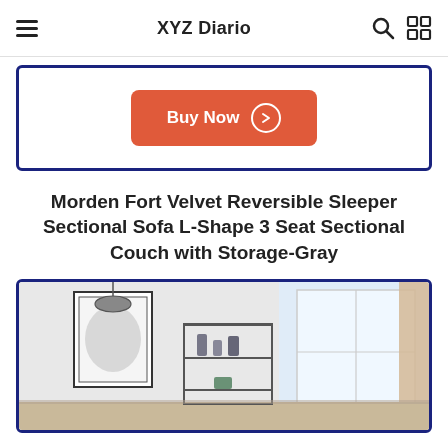XYZ Diario
[Figure (other): Buy Now button with red/orange background and circle arrow icon inside a blue-bordered card]
Morden Fort Velvet Reversible Sleeper Sectional Sofa L-Shape 3 Seat Sectional Couch with Storage-Gray
[Figure (photo): Living room interior photo showing white walls, a framed artwork, a metal shelf with vases, curtains, and a window with natural light]